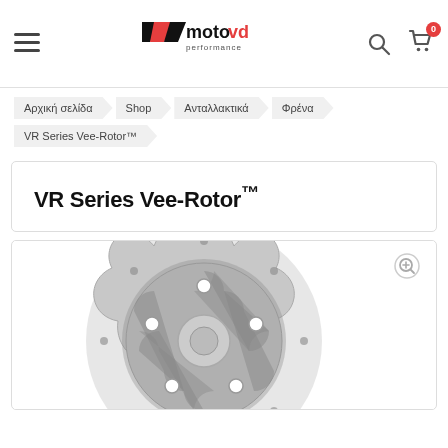MotoVD Performance — navigation header with logo, search, and cart icons
Αρχική σελίδα / Shop / Ανταλλακτικά / Φρένα / VR Series Vee-Rotor™
VR Series Vee-Rotor™
[Figure (photo): Product photo of a VR Series Vee-Rotor™ motorcycle brake disc rotor, metallic silver with wavy/scalloped edge and circular cutout pattern, shown on white background. Zoom icon in top-right corner.]